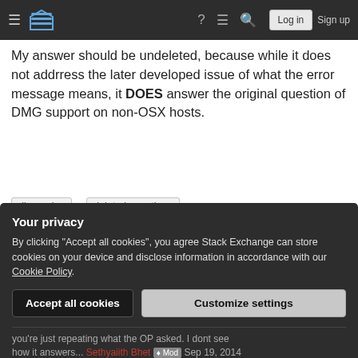Stack Exchange navigation bar with hamburger menu, logo, help, chat, search icons, Log in and Sign up buttons
My answer should be undeleted, because while it does not addrress the later developed issue of what the error message means, it DOES answer the original question of DMG support on non-OSX hosts.
discussion
deleted-questions
Share   Follow
edited Mar 20, 2017 at 10:18  Community Bot 1
Your privacy
By clicking "Accept all cookies", you agree Stack Exchange can store cookies on your device and disclose information in accordance with our Cookie Policy.
Accept all cookies   Customize settings
you're just repeating what the OP asked. I dont see how it answers... Sethyaiith Bhet [♦ Mod] Sep 19, 2014